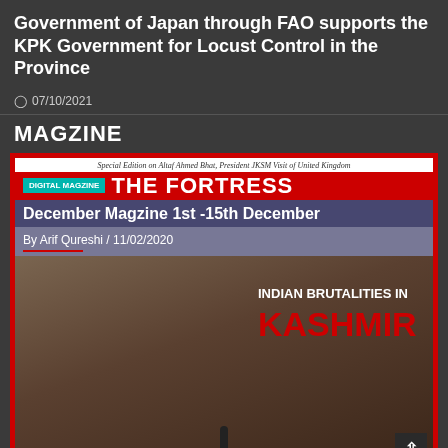Government of Japan through FAO supports the KPK Government for Locust Control in the Province
07/10/2021
MAGZINE
[Figure (photo): Screenshot of a digital magazine page titled 'THE FORTRESS' with subtitle 'December Magzine 1st -15th December', tagged 'DIGITAL MAGZINE', authored by Arif Qureshi on 11/02/2020. Shows a bearded man at a microphone in front of a backdrop reading 'INDIAN BRUTALITIES IN KASHMIR'.]